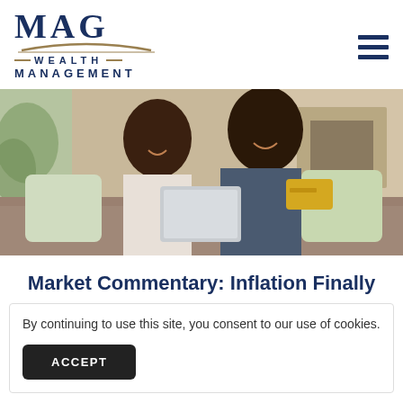[Figure (logo): MAG Wealth Management logo with dark navy letters and gold arc swoosh]
[Figure (photo): A smiling couple sitting on a couch, woman holding a tablet and man holding a credit card, shopping online together]
Market Commentary: Inflation Finally
By continuing to use this site, you consent to our use of cookies.
ACCEPT